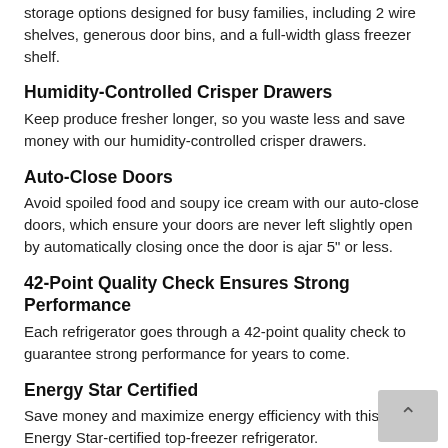storage options designed for busy families, including 2 wire shelves, generous door bins, and a full-width glass freezer shelf.
Humidity-Controlled Crisper Drawers
Keep produce fresher longer, so you waste less and save money with our humidity-controlled crisper drawers.
Auto-Close Doors
Avoid spoiled food and soupy ice cream with our auto-close doors, which ensure your doors are never left slightly open by automatically closing once the door is ajar 5" or less.
42-Point Quality Check Ensures Strong Performance
Each refrigerator goes through a 42-point quality check to guarantee strong performance for years to come.
Energy Star Certified
Save money and maximize energy efficiency with this Energy Star-certified top-freezer refrigerator.
Ice Maker Ready